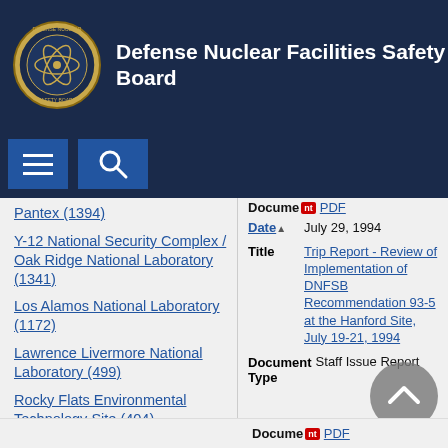Defense Nuclear Facilities Safety Board
[Figure (logo): DNFSB circular seal/emblem in header]
[Figure (screenshot): Navigation bar with hamburger menu and search icon]
Pantex (1394)
Y-12 National Security Complex / Oak Ridge National Laboratory (1341)
Los Alamos National Laboratory (1172)
Lawrence Livermore National Laboratory (499)
Rocky Flats Environmental Technology Site (404)
Document [PDF]
Date: July 29, 1994
Title: Trip Report - Review of Implementation of DNFSB Recommendation 93-5 at the Hanford Site, July 19-21, 1994
Document Type: Staff Issue Report
Document [PDF]